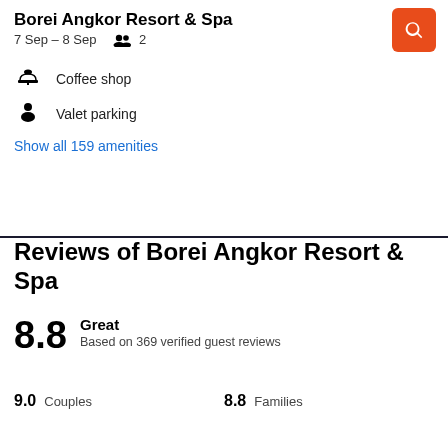Borei Angkor Resort & Spa
7 Sep – 8 Sep   2
Coffee shop
Valet parking
Show all 159 amenities
Reviews of Borei Angkor Resort & Spa
8.8 Great Based on 369 verified guest reviews
9.0 Couples   8.8 Families